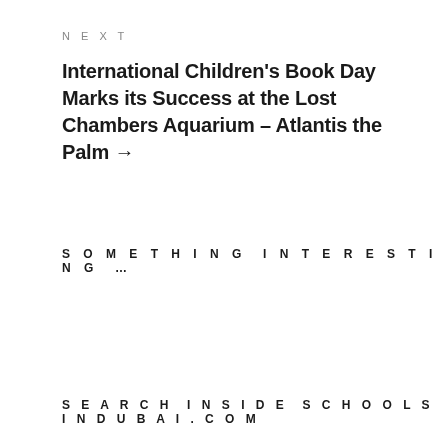NEXT
International Children’s Book Day Marks its Success at the Lost Chambers Aquarium – Atlantis the Palm →
SOMETHING INTERESTING ...
SEARCH INSIDE SCHOOLSINDUBAI.COM